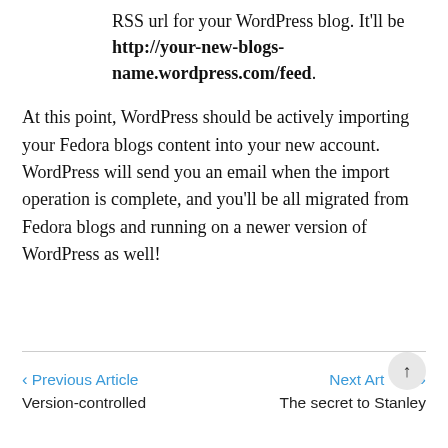RSS url for your WordPress blog. It'll be http://your-new-blogs-name.wordpress.com/feed.
At this point, WordPress should be actively importing your Fedora blogs content into your new account. WordPress will send you an email when the import operation is complete, and you'll be all migrated from Fedora blogs and running on a newer version of WordPress as well!
◀ Previous Article   Next Article ▶
Version-controlled   The secret to Stanley